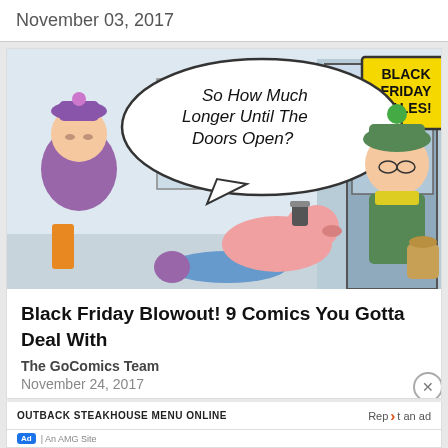November 03, 2017
[Figure (illustration): Comic strip panel showing characters waiting outside a store for Black Friday sales. A speech bubble reads 'So How Much Longer Until The Doors Open?' A yellow sign on the store reads 'BLACK FRIDAY SALES!']
Black Friday Blowout! 9 Comics You Gotta Deal With
The GoComics Team
November 24, 2017
OUTBACK STEAKHOUSE MENU ONLINE
Report an ad
Ad | An AMG Site